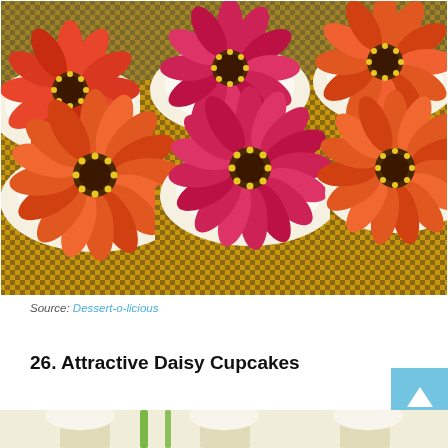[Figure (photo): Multiple cupcakes decorated with large gerbera daisy flowers in orange, red, and pink colors with yellow and dark brown centers, on white frosting with brown checkered cupcake wrappers]
Source: Dessert-o-licious
26. Attractive Daisy Cupcakes
[Figure (photo): Partial view of cupcakes with white frosting and green decorations at the bottom of the page]